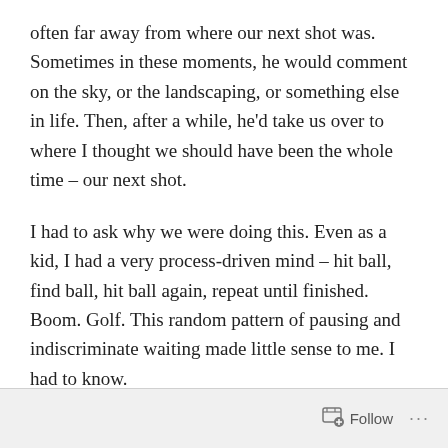often far away from where our next shot was. Sometimes in these moments, he would comment on the sky, or the landscaping, or something else in life. Then, after a while, he'd take us over to where I thought we should have been the whole time – our next shot.
I had to ask why we were doing this. Even as a kid, I had a very process-driven mind – hit ball, find ball, hit ball again, repeat until finished. Boom. Golf. This random pattern of pausing and indiscriminate waiting made little sense to me. I had to know.
He looked at me and said these words that I've never forgotten – "Rudy, I'm always trying to keep us in the shade."
Follow ···